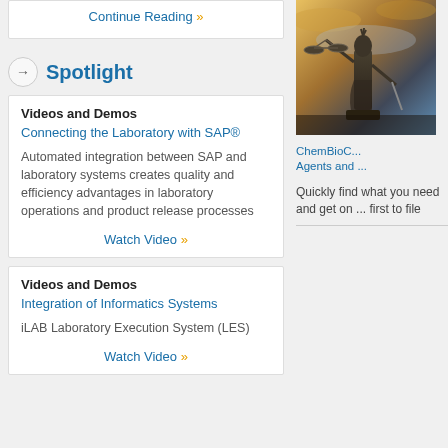Continue Reading »
→ Spotlight
Videos and Demos
Connecting the Laboratory with SAP®
Automated integration between SAP and laboratory systems creates quality and efficiency advantages in laboratory operations and product release processes
Watch Video »
Videos and Demos
Integration of Informatics Systems
iLAB Laboratory Execution System (LES)
Watch Video »
[Figure (photo): Statue of Lady Justice holding scales against a dramatic sky background]
ChemBioC... Agents and ...
Quickly find what you need and get on ... first to file